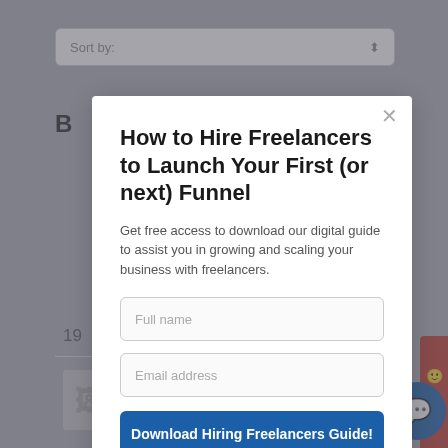[Figure (screenshot): Background website page showing a 'Sort by' dropdown bar, partial bold letter 'B', some numbers and thumbnail, with a red Feedback sidebar tab and a blue chat circle in the corner.]
How to Hire Freelancers to Launch Your First (or next) Funnel
Get free access to download our digital guide to assist you in growing and scaling your business with freelancers.
Full name
Email address
Download Hiring Freelancers Guide!